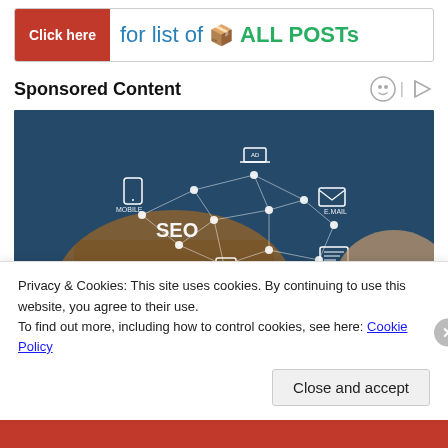[Figure (screenshot): Click here button banner: red 'Click here' button followed by text 'for list of ALL POSTs' with a gift box icon, green bold ALL POSTs text, on white background with border]
Sponsored Content
[Figure (photo): Digital marketing concept photo: person touching tablet with network diagram overlay showing icons for MOBILE, AD (laptop), EMAIL, SEO, VIDEO, SOCIAL NETWORK, connected by white lines with dots. White text 'DIGITAL MARKETING' at bottom.]
Privacy & Cookies: This site uses cookies. By continuing to use this website, you agree to their use.
To find out more, including how to control cookies, see here: Cookie Policy